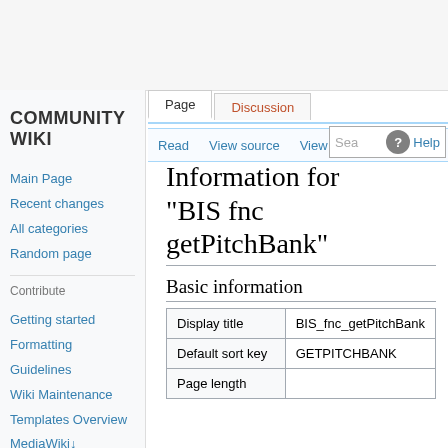COMMUNITY WIKI
Information for "BIS fnc getPitchBank"
Basic information
|  |  |
| --- | --- |
| Display title | BIS_fnc_getPitchBank |
| Default sort key | GETPITCHBANK |
| Page length |  |